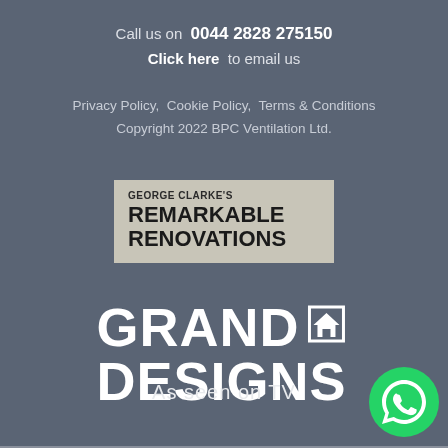Call us on  0044 2828 275150
Click here  to email us
Privacy Policy,  Cookie Policy,  Terms & Conditions
Copyright 2022 BPC Ventilation Ltd.
[Figure (logo): George Clarke's Remarkable Renovations logo on a grey-beige background]
[Figure (logo): Grand Designs logo in white bold text with a house icon]
As seen on TV
[Figure (logo): WhatsApp green circle icon with phone handset]